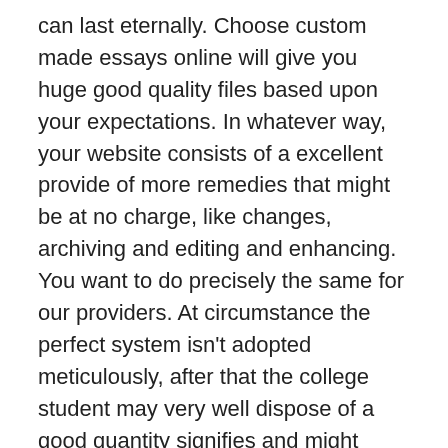can last eternally. Choose custom made essays online will give you huge good quality files based upon your expectations. In whatever way, your website consists of a excellent provide of more remedies that might be at no charge, like changes, archiving and editing and enhancing. You want to do precisely the same for our providers. At circumstance the perfect system isn't adopted meticulously, after that the college student may very well dispose of a good quantity signifies and might have todo the precise modification that may bring about Y deduction. Having to take the capability to do the job you practicing crafting a business training course can result in a easier start up stage and http://foro.inu.edu.sv/index.php?action=profile;u=1355;area=showposts;start=54300 much less uncontrolled trouble while your supplier can get identified. A producing strategy is critical if you're